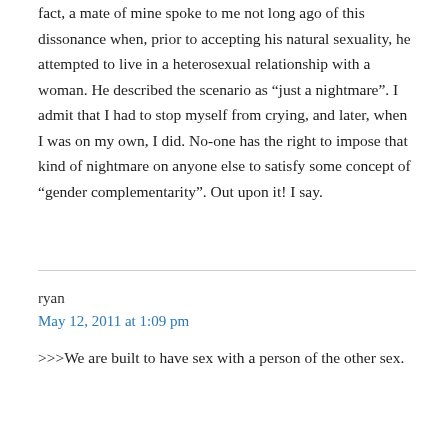fact, a mate of mine spoke to me not long ago of this dissonance when, prior to accepting his natural sexuality, he attempted to live in a heterosexual relationship with a woman. He described the scenario as “just a nightmare”. I admit that I had to stop myself from crying, and later, when I was on my own, I did. No-one has the right to impose that kind of nightmare on anyone else to satisfy some concept of “gender complementarity”. Out upon it! I say.
ryan
May 12, 2011 at 1:09 pm
>>>We are built to have sex with a person of the other sex.